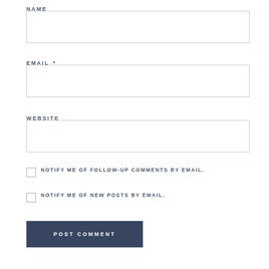NAME
[Figure (other): Empty text input field for Name]
EMAIL *
[Figure (other): Empty text input field for Email]
WEBSITE
[Figure (other): Empty text input field for Website]
NOTIFY ME OF FOLLOW-UP COMMENTS BY EMAIL.
NOTIFY ME OF NEW POSTS BY EMAIL.
POST COMMENT